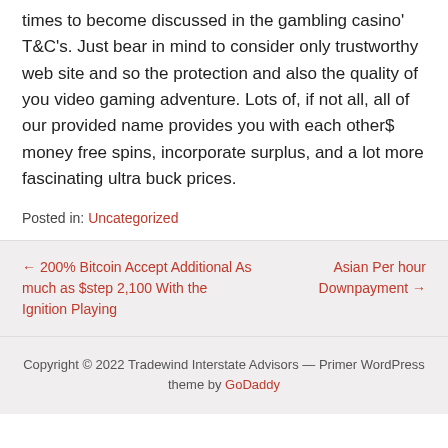times to become discussed in the gambling casino' T&C's. Just bear in mind to consider only trustworthy web site and so the protection and also the quality of you video gaming adventure. Lots of, if not all, all of our provided name provides you with each other$ money free spins, incorporate surplus, and a lot more fascinating ultra buck prices.
Posted in: Uncategorized
← 200% Bitcoin Accept Additional As much as $step 2,100 With the Ignition Playing
Asian Per hour Downpayment →
Copyright © 2022 Tradewind Interstate Advisors — Primer WordPress theme by GoDaddy